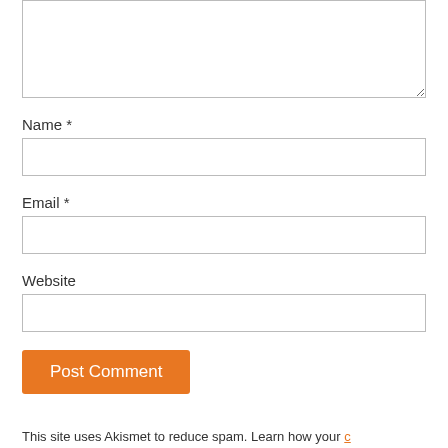[Figure (screenshot): A web form with a textarea at the top (partially visible), followed by Name, Email, and Website text input fields, a Post Comment button in orange, and partial text at the bottom.]
Name *
Email *
Website
Post Comment
This site uses Akismet to reduce spam. Learn how your comment data is processed.